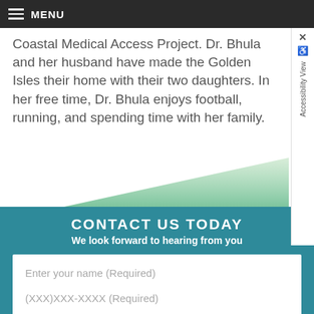MENU
Coastal Medical Access Project. Dr. Bhula and her husband have made the Golden Isles their home with their two daughters. In her free time, Dr. Bhula enjoys football, running, and spending time with her family.
CONTACT US TODAY
We look forward to hearing from you
Enter your name (Required)
Enter email (Required)
(XXX)XXX-XXXX (Required)